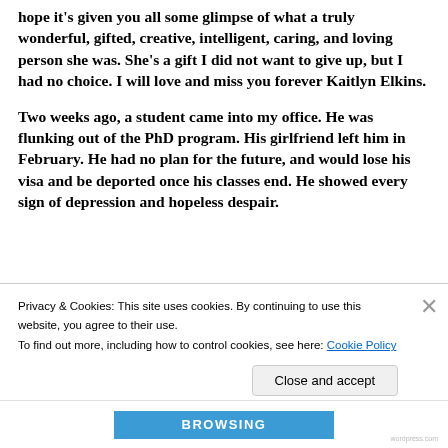hope it's given you all some glimpse of what a truly wonderful, gifted, creative, intelligent, caring, and loving person she was. She's a gift I did not want to give up, but I had no choice. I will love and miss you forever Kaitlyn Elkins.
Two weeks ago, a student came into my office. He was flunking out of the PhD program. His girlfriend left him in February. He had no plan for the future, and would lose his visa and be deported once his classes end. He showed every sign of depression and hopeless despair.
Privacy & Cookies: This site uses cookies. By continuing to use this website, you agree to their use.
To find out more, including how to control cookies, see here: Cookie Policy
Close and accept